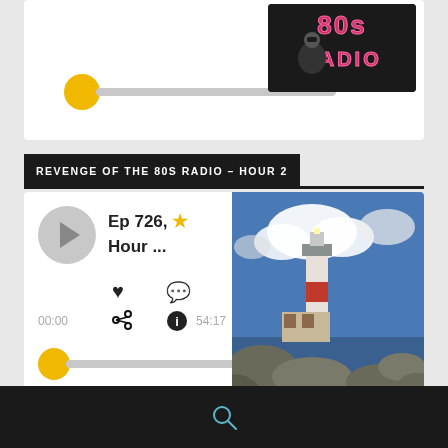[Figure (screenshot): Audio player card with yellow slider knob and 80s radio logo]
REVENGE OF THE 80S RADIO – HOUR 2
[Figure (screenshot): Episode player card showing Ep 726 Hour ... with play button, heart, comment, share, info icons, timestamps 00:00 and 54:17, yellow progress knob, and lighthouse photo]